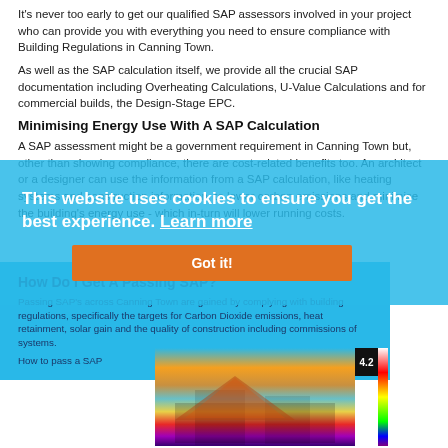It's never too early to get our qualified SAP assessors involved in your project who can provide you with everything you need to ensure compliance with Building Regulations in Canning Town.
As well as the SAP calculation itself, we provide all the crucial SAP documentation including Overheating Calculations, U-Value Calculations and for commercial builds, the Design-Stage EPC.
Minimising Energy Use With A SAP Calculation
A SAP assessment might be a government requirement in Canning Town but, other than showing compliance, there are cost-related benefits too. An architect or a designer can use the information from a SAP calculation, like heating systems and construction information, to lower carbon emissions and minimise the building's energy use - which in-turn will lower running costs.
How Do I Get A Passing SAP?
Passing SAP's across Canning Town are gained by complying with building regulations, specifically the targets for Carbon Dioxide emissions, heat retainment, solar gain and the quality of construction including commissions of systems.
How to pass a SAP
[Figure (photo): Thermal image of a building structure showing heat distribution with color scale bar and value 4.2]
This website uses cookies to ensure you get the best experience. Learn more
Got it!